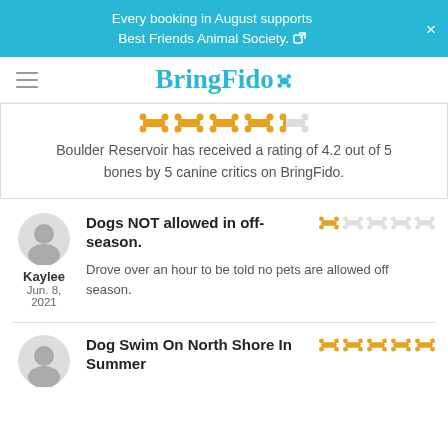Every booking in August supports Best Friends Animal Society.
[Figure (logo): BringFido logo with paw print dot on the 'o']
Boulder Reservoir has received a rating of 4.2 out of 5 bones by 5 canine critics on BringFido.
Dogs NOT allowed in off-season.
Drove over an hour to be told no pets are allowed off season.
Kaylee
Jun. 8, 2021
Dog Swim On North Shore In Summer